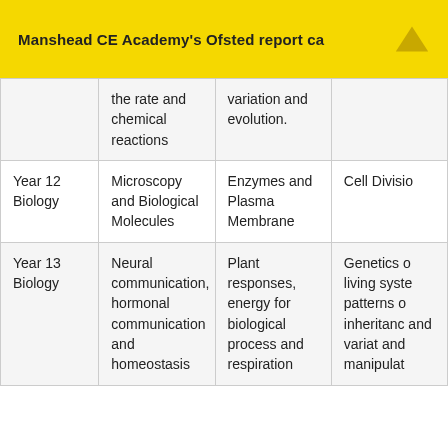Manshead CE Academy's Ofsted report ca
|  | Term 1 | Term 2 | Term 3 |
| --- | --- | --- | --- |
|  | the rate and chemical reactions | variation and evolution. |  |
| Year 12 Biology | Microscopy and Biological Molecules | Enzymes and Plasma Membrane | Cell Divisio... |
| Year 13 Biology | Neural communication, hormonal communication and homeostasis | Plant responses, energy for biological process and respiration | Genetics o... living syste... patterns o... inheritanc... and variat... and manipulat... |